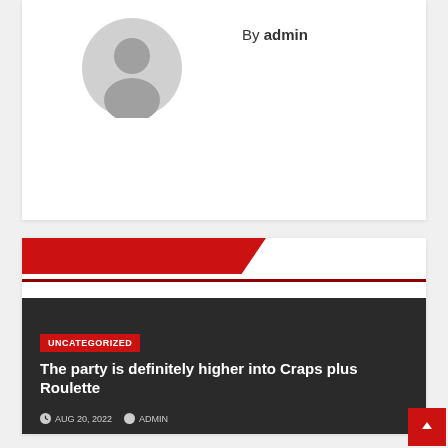By admin
[Figure (illustration): Generic user avatar circle with silhouette]
RELATED POST
[Figure (screenshot): Dark background post card]
UNCATEGORIZED
The party is definitely higher into Craps plus Roulette
AUG 20, 2022  ADMIN